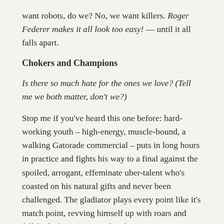want robots, do we? No, we want killers. Roger Federer makes it all look too easy! — until it all falls apart.
Chokers and Champions
Is there so much hate for the ones we love? (Tell me we both matter, don't we?)
Stop me if you've heard this one before: hard-working youth – high-energy, muscle-bound, a walking Gatorade commercial – puts in long hours in practice and fights his way to a final against the spoiled, arrogant, effeminate uber-talent who's coasted on his natural gifts and never been challenged. The gladiator plays every point like it's match point, revving himself up with roars and full-body fist-pumps, and curb-